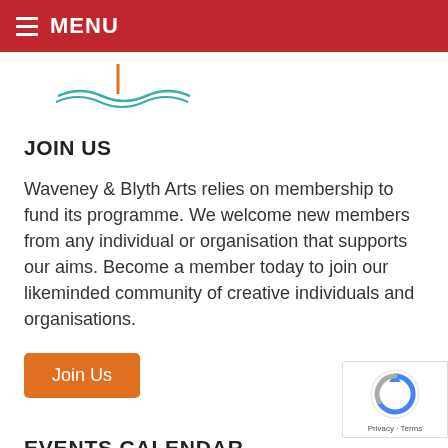MENU
[Figure (logo): Waveney & Blyth Arts logo with decorative wave lines in teal and an orange/red vertical element]
JOIN US
Waveney & Blyth Arts relies on membership to fund its programme. We welcome new members from any individual or organisation that supports our aims. Become a member today to join our likeminded community of creative individuals and organisations.
Join Us
EVENTS CALENDAR